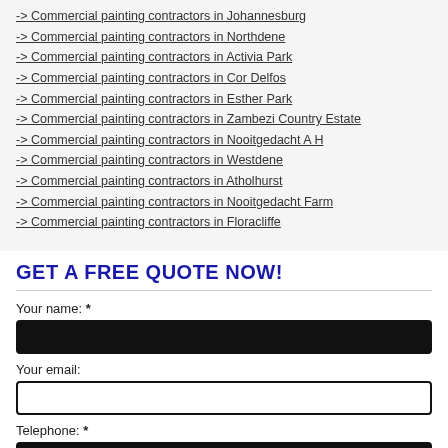-> Commercial painting contractors in Johannesburg
-> Commercial painting contractors in Northdene
-> Commercial painting contractors in Activia Park
-> Commercial painting contractors in Cor Delfos
-> Commercial painting contractors in Esther Park
-> Commercial painting contractors in Zambezi Country Estate
-> Commercial painting contractors in Nooitgedacht A H
-> Commercial painting contractors in Westdene
-> Commercial painting contractors in Atholhurst
-> Commercial painting contractors in Nooitgedacht Farm
-> Commercial painting contractors in Floracliffe
GET A FREE QUOTE NOW!
Your name: *
Your email:
Telephone: *